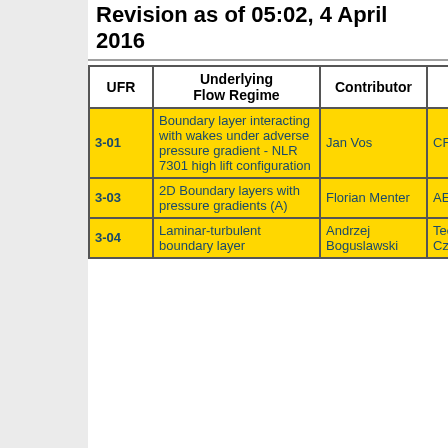Revision as of 05:02, 4 April 2016
| UFR | Underlying Flow Regime | Contributor |  |
| --- | --- | --- | --- |
| 3-01 | Boundary layer interacting with wakes under adverse pressure gradient - NLR 7301 high lift configuration | Jan Vos | CFS E |
| 3-03 | 2D Boundary layers with pressure gradients (A) | Florian Menter | AEA T |
| 3-04 | Laminar-turbulent boundary layer | Andrzej Boguslawski | Techn Czesl |